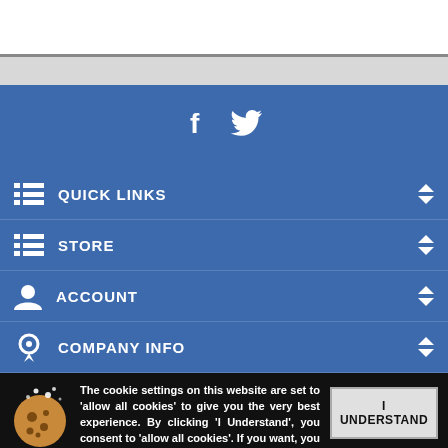[Figure (screenshot): White top bar area of a website]
[Figure (screenshot): Light gray horizontal bar below white area]
[Figure (screenshot): Blue social media bar with Facebook and Twitter icons]
QUICK LINKS
STORE
ACCOUNT
COMPANY INFO
The cookie settings on this website are set to 'allow all cookies' to give you the very best experience. By clicking 'I Understand', you consent to 'allow all cookies'. If you want, you can change your settings at any time by visiting our